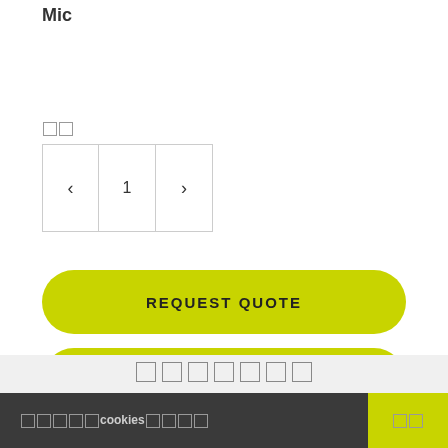Mic
□□
[Figure (other): Quantity stepper control with back arrow, number 1, and forward arrow]
[Figure (other): REQUEST QUOTE button - yellow-green rounded rectangle]
[Figure (other): Second yellow-green rounded rectangle button with placeholder squares]
□□□□□□□
□□□□□cookies□□□□  □□